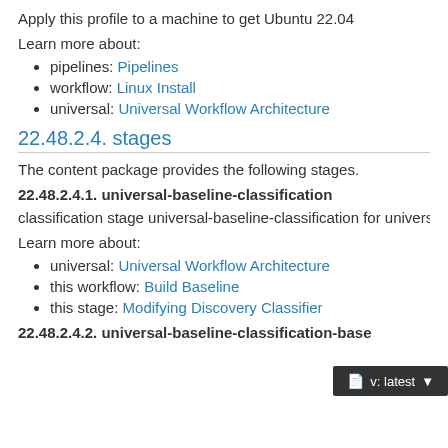Apply this profile to a machine to get Ubuntu 22.04
Learn more about:
pipelines: Pipelines
workflow: Linux Install
universal: Universal Workflow Architecture
22.48.2.4. stages
The content package provides the following stages.
22.48.2.4.1. universal-baseline-classification
classification stage universal-baseline-classification for universal workf
Learn more about:
universal: Universal Workflow Architecture
this workflow: Build Baseline
this stage: Modifying Discovery Classifier
22.48.2.4.2. universal-baseline-classification-base